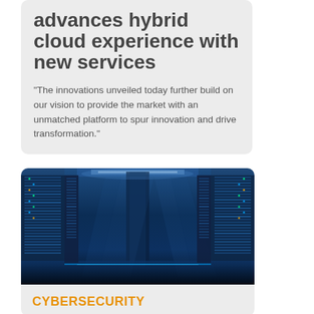advances hybrid cloud experience with new services
"The innovations unveiled today further build on our vision to provide the market with an unmatched platform to spur innovation and drive transformation."
[Figure (photo): Interior of a data center corridor with rows of server racks illuminated in blue lighting, with reflective floor and ceiling panels]
CYBERSECURITY